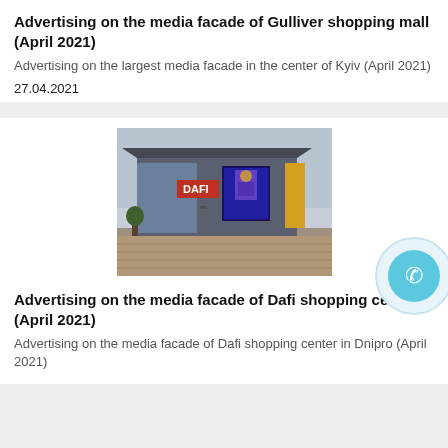Advertising on the media facade of Gulliver shopping mall (April 2021)
Advertising on the largest media facade in the center of Kyiv (April 2021)
27.04.2021
[Figure (photo): Photo of Dafi shopping center exterior with a large LED media facade showing an advertisement. A person is walking in the foreground on a brick plaza. The building is modern with glass facade.]
Advertising on the media facade of Dafi shopping center (April 2021)
Advertising on the media facade of Dafi shopping center in Dnipro (April 2021)